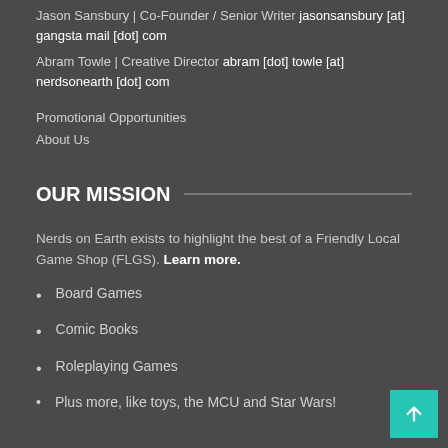Jason Sansbury | Co-Founder / Senior Writer jasonsansbury [at] gangstamail [dot] com
Abram Towle | Creative Director abram [dot] towle [at] nerdsonearth [dot] com
Promotional Opportunities
About Us
OUR MISSION
Nerds on Earth exists to highlight the best of a Friendly Local Game Shop (FLGS). Learn more.
Board Games
Comic Books
Roleplaying Games
Plus more, like toys, the MCU and Star Wars!